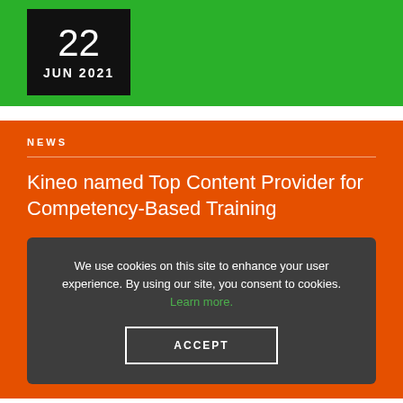22 JUN 2021
NEWS
Kineo named Top Content Provider for Competency-Based Training
We use cookies on this site to enhance your user experience. By using our site, you consent to cookies. Learn more.
ACCEPT